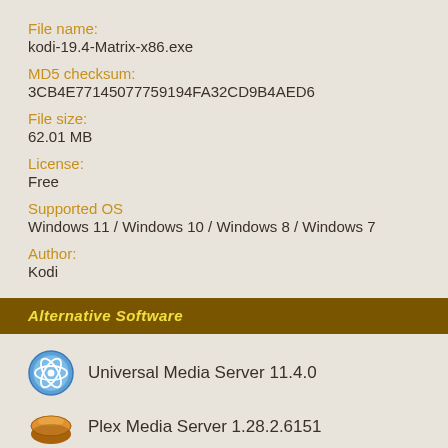File name:
kodi-19.4-Matrix-x86.exe
MD5 checksum:
3CB4E77145077759194FA32CD9B4AED6
File size:
62.01 MB
License:
Free
Supported OS
Windows 11 / Windows 10 / Windows 8 / Windows 7
Author:
Kodi
Alternative Software
Universal Media Server 11.4.0
Plex Media Server 1.28.2.6151